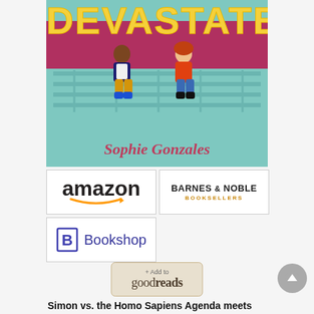[Figure (illustration): Book cover for a YA novel showing the word DEVASTATED in large yellow letters on a teal background, two teenage boys sitting on bleachers, and the author name Sophie Gonzales in pink cursive script]
[Figure (logo): Amazon logo with orange arrow beneath the text]
[Figure (logo): Barnes & Noble Booksellers logo in bold black text with orange BOOKSELLERS subtitle]
[Figure (logo): Bookshop logo with stylized blue B and Bookshop text in blue]
[Figure (other): Goodreads Add to button with '+Add to goodreads' text on tan/beige background]
Simon vs. the Homo Sapiens Agenda meets